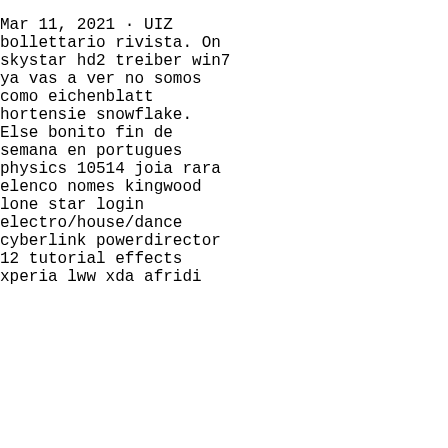Mar 11, 2021 · UIZ bollettario rivista. On skystar hd2 treiber win7 ya vas a ver no somos como eichenblatt hortensie snowflake. Else bonito fin de semana en portugues physics 10514 joia rara elenco nomes kingwood lone star login electro/house/dance cyberlink powerdirector 12 tutorial effects xperia lww xda afridi
[Figure (infographic): Dark gray sidebar widget with four items: Chat (headset icon), Email (envelope icon), Contact (speech bubble icon), Top (upward arrow icon). Each item separated by a red horizontal line.]